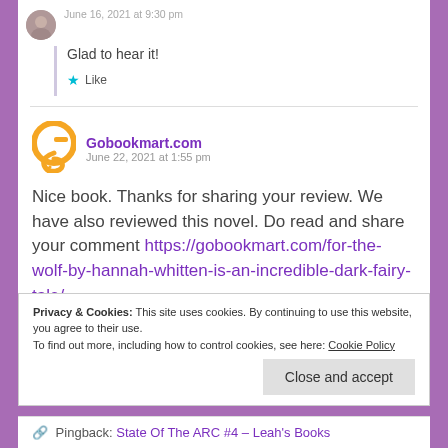June 16, 2021 at 9:30 pm
Glad to hear it!
Like
Gobookmart.com
June 22, 2021 at 1:55 pm
Nice book. Thanks for sharing your review. We have also reviewed this novel. Do read and share your comment https://gobookmart.com/for-the-wolf-by-hannah-whitten-is-an-incredible-dark-fairy-tale/
Privacy & Cookies: This site uses cookies. By continuing to use this website, you agree to their use.
To find out more, including how to control cookies, see here: Cookie Policy
Close and accept
Pingback: State Of The ARC #4 – Leah's Books